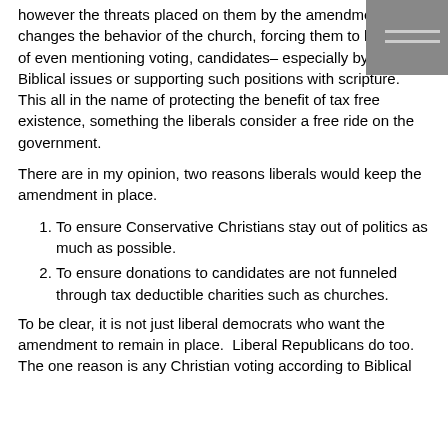however the threats placed on them by the amendment, changes the behavior of the church, forcing them to hold short of even mentioning voting, candidates– especially by name, Biblical issues or supporting such positions with scripture. This all in the name of protecting the benefit of tax free existence, something the liberals consider a free ride on the government.
There are in my opinion, two reasons liberals would keep the amendment in place.
To ensure Conservative Christians stay out of politics as much as possible.
To ensure donations to candidates are not funneled through tax deductible charities such as churches.
To be clear, it is not just liberal democrats who want the amendment to remain in place.  Liberal Republicans do too. The one reason is any Christian voting according to Biblical